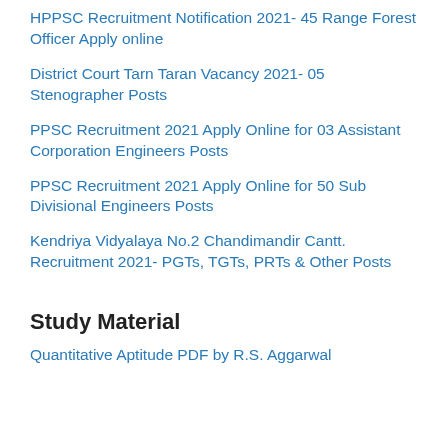HPPSC Recruitment Notification 2021- 45 Range Forest Officer Apply online
District Court Tarn Taran Vacancy 2021- 05 Stenographer Posts
PPSC Recruitment 2021 Apply Online for 03 Assistant Corporation Engineers Posts
PPSC Recruitment 2021 Apply Online for 50 Sub Divisional Engineers Posts
Kendriya Vidyalaya No.2 Chandimandir Cantt. Recruitment 2021- PGTs, TGTs, PRTs & Other Posts
Study Material
Quantitative Aptitude PDF by R.S. Aggarwal